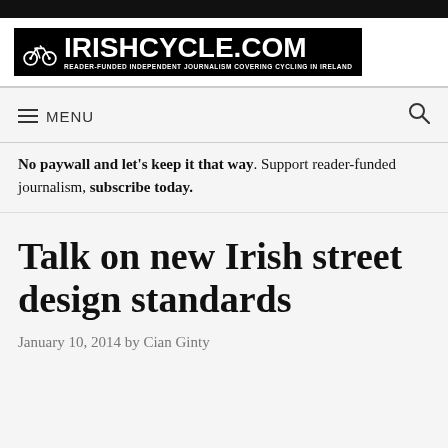IRISHCYCLE.COM — READER-FUNDED INDEPENDENT JOURNALISM COVERING CYCLING IN IRELAND
≡ MENU
No paywall and let's keep it that way. Support reader-funded journalism, subscribe today.
Talk on new Irish street design standards
January 10, 2014 by Cian Ginty